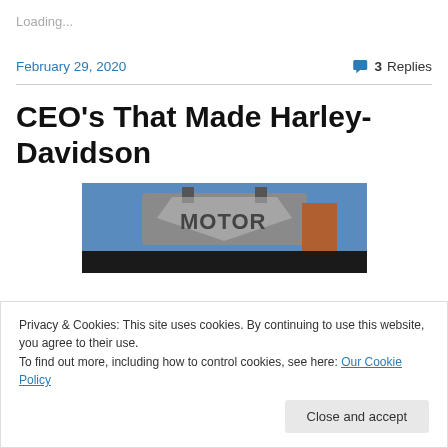Loading...
February 29, 2020
3 Replies
CEO's That Made Harley-Davidson
[Figure (photo): Harley-Davidson Motor Company building sign against a blue sky with bare trees]
Privacy & Cookies: This site uses cookies. By continuing to use this website, you agree to their use.
To find out more, including how to control cookies, see here: Our Cookie Policy
Close and accept